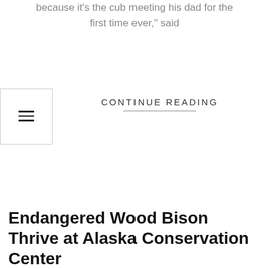because it’s the cub meeting his dad for the first time ever,” said
CONTINUE READING
Endangered Wood Bison Thrive at Alaska Conservation Center